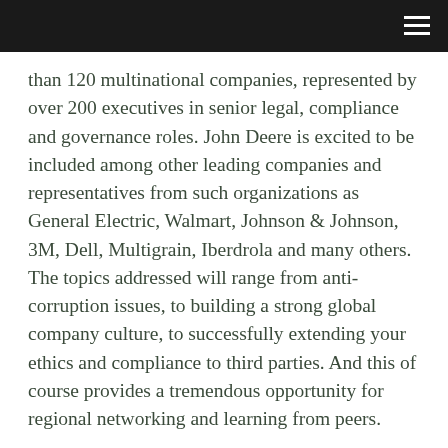hamburger menu icon
than 120 multinational companies, represented by over 200 executives in senior legal, compliance and governance roles. John Deere is excited to be included among other leading companies and representatives from such organizations as General Electric, Walmart, Johnson & Johnson, 3M, Dell, Multigrain, Iberdrola and many others. The topics addressed will range from anti-corruption issues, to building a strong global company culture, to successfully extending your ethics and compliance to third parties. And this of course provides a tremendous opportunity for regional networking and learning from peers.
I will be among three General Counsels that will be speaking on the opening session of the Latin America Ethics Summit on June 17th, and hope that you will join me and Ethisphere for this truly engaging and unique forum of leadership.
Each year this Summit attracts a diverse audience and faculty